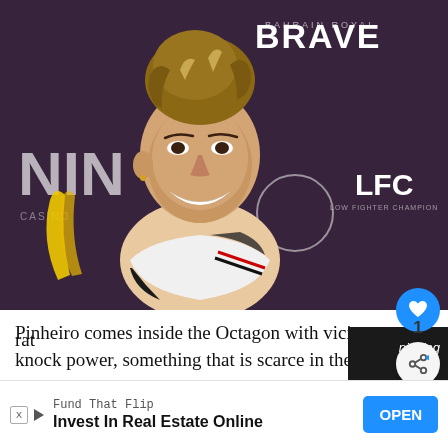[Figure (photo): A smiling woman with her hair up in a messy bun, wearing a white and black athletic top with red and black striped details. She stands in front of a dark banner backdrop with MMA/fight promotion logos including BRAVE and LFC.]
Pinheiro comes inside the Octagon with vicious knock power, something that is scarce in the women's division, and ... nishing rat... cards.
[Figure (screenshot): Advertisement banner: Fund That Flip - Invest In Real Estate Online with an OPEN button]